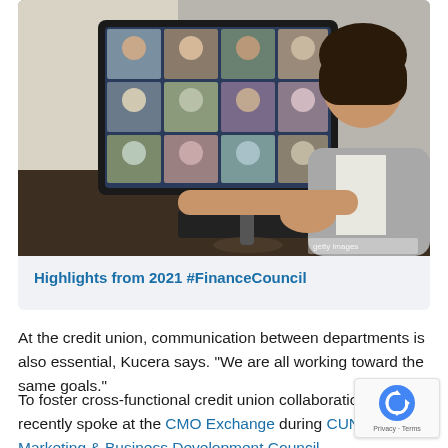[Figure (photo): A woman sitting at a desk gesturing with her hands while looking at a large monitor displaying a video conference call with many participants in a grid layout. She appears to be presenting or speaking during an online meeting.]
Highlights from 2021 #FinanceCouncil
At the credit union, communication between departments is also essential, Kucera says. “We are all working toward the same goals.”
To foster cross-functional credit union collaboration, Kucera recently spoke at the CMO Exchange during CUNA Marketing & Business Development Council